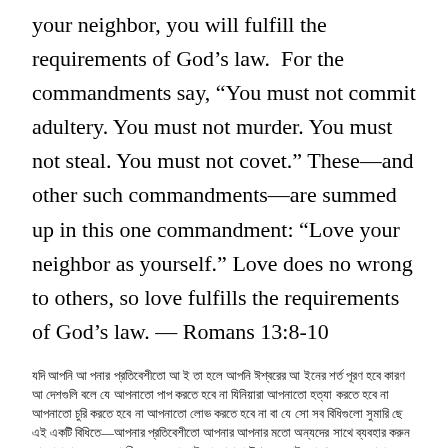your neighbor, you will fulfill the requirements of God’s law.  For the commandments say, “You must not commit adultery. You must not murder. You must not steal. You must not covet.” These—and other such commandments—are summed up in this one commandment: “Love your neighbor as yourself.”  Love does no wrong to others, so love fulfills the requirements of God’s law. — Romans 13:8-10
যদি আপনি আ পনার প্রতিবেশীকে ভাল বা স তন তা হলে আপনি ঈশ্বরের আ ইনের শর্ত পূরণ করবেন কারণ আ দেশগুলি বলে যে আপনাকে পাপ করতে হবে না যিনিয়ারা আপনাকে হত্যা করতে হবে না আপনাকে চুরি করতে হবে না আপনাকে লোভ করতে হবে না এই এবং অন্যান্য জাতীয় আ দেশগুলি একটি আ দেশে সংক্ষিপ্ত হয়েছে আপনার প্রতিবেশীকে নিজের মতো ভালোবাসুন ভালোবাসা অন্যদের জন্য সারা ৮শের সন্র্ঢ করতে পারে তাই সেই লোকেদের মন্দ করে না তাই ভালোবাসা ঈশ্বরের আ ইনের শর্ত পূরণ করে — রোমানস ১৩ঃ৮-১০